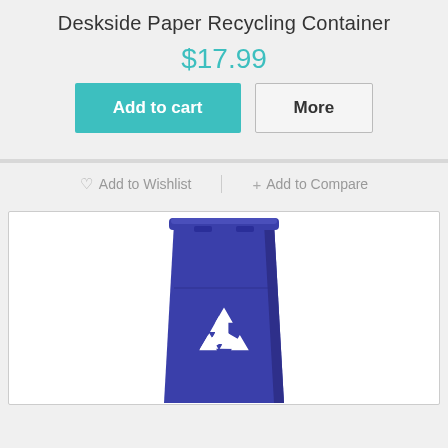Deskside Paper Recycling Container
$17.99
Add to cart | More
♡ Add to Wishlist  + Add to Compare
[Figure (photo): Blue deskside paper recycling container with white recycling symbol on the front, tall rectangular shape with open top, shown against white background]